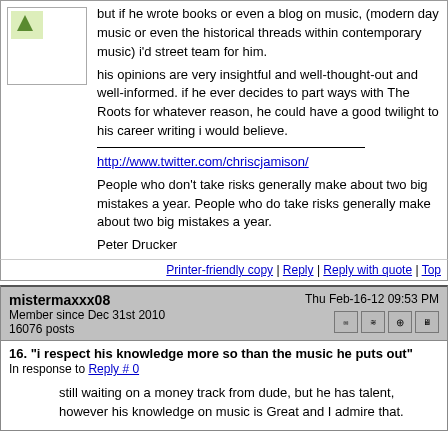but if he wrote books or even a blog on music, (modern day music or even the historical threads within contemporary music) i'd street team for him.
his opinions are very insightful and well-thought-out and well-informed. if he ever decides to part ways with The Roots for whatever reason, he could have a good twilight to his career writing i would believe.
http://www.twitter.com/chriscjamison/
People who don't take risks generally make about two big mistakes a year. People who do take risks generally make about two big mistakes a year.
Peter Drucker
Printer-friendly copy | Reply | Reply with quote | Top
mistermaxxx08
Member since Dec 31st 2010
16076 posts
Thu Feb-16-12 09:53 PM
16. "i respect his knowledge more so than the music he puts out"
In response to Reply # 0
still waiting on a money track from dude, but he has talent, however his knowledge on music is Great and I admire that.